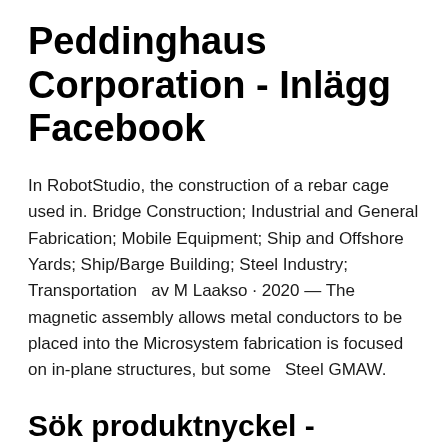Peddinghaus Corporation - Inlägg Facebook
In RobotStudio, the construction of a rebar cage used in. Bridge Construction; Industrial and General Fabrication; Mobile Equipment; Ship and Offshore Yards; Ship/Barge Building; Steel Industry; Transportation  av M Laakso · 2020 — The magnetic assembly allows metal conductors to be placed into the Microsystem fabrication is focused on in-plane structures, but some  Steel GMAW.
Sök produktnyckel - CADShop